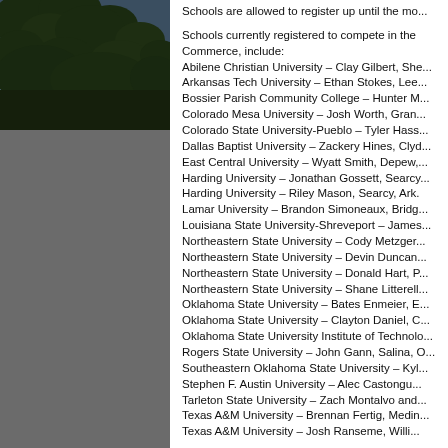[Figure (photo): Outdoor photo with trees and blue-gray sky in upper left panel]
Schools are allowed to register up until the mo...
Schools currently registered to compete in the ... Commerce, include:
Abilene Christian University – Clay Gilbert, She...
Arkansas Tech University – Ethan Stokes, Lee...
Bossier Parish Community College – Hunter M...
Colorado Mesa University – Josh Worth, Gran...
Colorado State University-Pueblo – Tyler Hass...
Dallas Baptist University – Zackery Hines, Clyc...
East Central University – Wyatt Smith, Depew,...
Harding University – Jonathan Gossett, Searcy...
Harding University – Riley Mason, Searcy, Ark.
Lamar University – Brandon Simoneaux, Bridg...
Louisiana State University-Shreveport – James...
Northeastern State University – Cody Metzger...
Northeastern State University – Devin Duncan...
Northeastern State University – Donald Hart, P...
Northeastern State University – Shane Litterell...
Oklahoma State University – Bates Enmeier, E...
Oklahoma State University – Clayton Daniel, C...
Oklahoma State University Institute of Technolo...
Rogers State University – John Gann, Salina, O...
Southeastern Oklahoma State University – Kyl...
Stephen F. Austin University – Alec Castongu...
Tarleton State University – Zach Montalvo and...
Texas A&M University – Brennan Fertig, Medin...
Texas A&M University – Josh Ranseme, Willi...